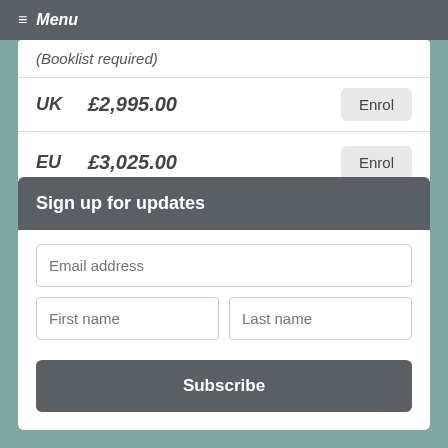Menu
(Booklist required)
| Region | Price | Action |
| --- | --- | --- |
| UK | £2,995.00 | Enrol |
| EU | £3,025.00 | Enrol |
| INT | £3,055.00 | Enrol |
Sign up for updates
Email address
First name
Last name
Subscribe